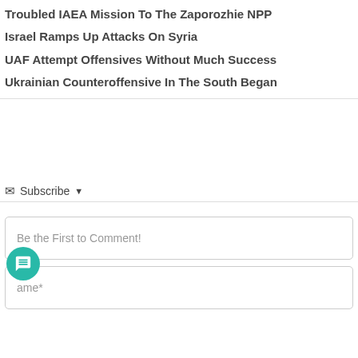Troubled IAEA Mission To The Zaporozhie NPP
Israel Ramps Up Attacks On Syria
UAF Attempt Offensives Without Much Success
Ukrainian Counteroffensive In The South Began
Subscribe
Be the First to Comment!
Name*